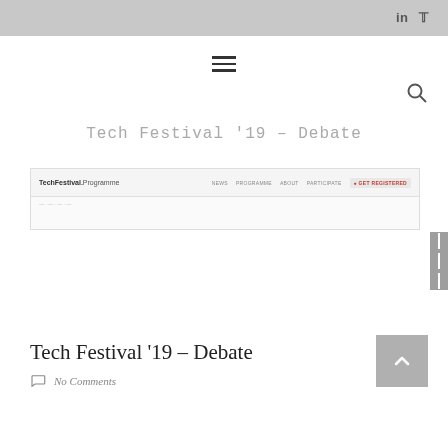Tech Festival '19 – Debate
[Figure (screenshot): Screenshot of TechFestival.Programme website navigation bar showing links: NEWS, PROGRAMME, ABOUT, PARTICIPATE, and a GET REGISTERED button highlighted in red.]
Tech Festival '19 – Debate
No Comments